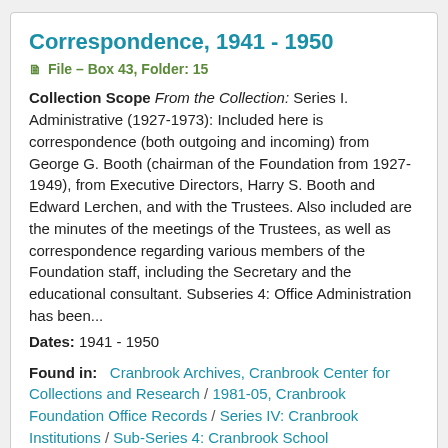Correspondence, 1941 - 1950
File – Box 43, Folder: 15
Collection Scope From the Collection: Series I. Administrative (1927-1973): Included here is correspondence (both outgoing and incoming) from George G. Booth (chairman of the Foundation from 1927-1949), from Executive Directors, Harry S. Booth and Edward Lerchen, and with the Trustees. Also included are the minutes of the meetings of the Trustees, as well as correspondence regarding various members of the Foundation staff, including the Secretary and the educational consultant. Subseries 4: Office Administration has been...
Dates: 1941 - 1950
Found in: Cranbrook Archives, Cranbrook Center for Collections and Research / 1981-05, Cranbrook Foundation Office Records / Series IV: Cranbrook Institutions / Sub-Series 4: Cranbrook School
Correspondence, 1933-10 - 1940-12